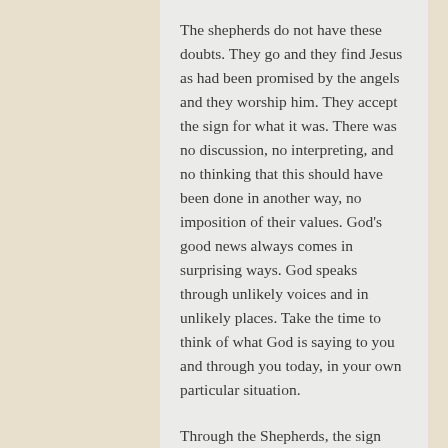The shepherds do not have these doubts.  They go and they find Jesus as had been promised by the angels and they worship him.  They accept the sign for what it was.  There was no discussion, no interpreting, and no thinking that this should have been done in another way, no imposition of their values.   God's good news always comes in surprising ways.  God speaks through unlikely voices and in unlikely places.  Take the time to think of what God is saying to you and through you today, in your own particular situation.
Through the Shepherds, the sign became promise for all.   They did not question but recognised.  With that recognition the Glory of God was released, revealed and acknowledged in the world.  The choirs of angel burst into song.  At that moment